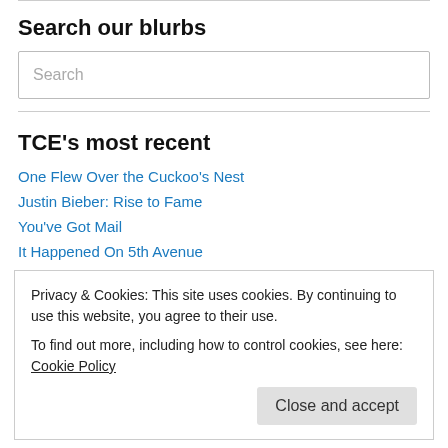Search our blurbs
Search
TCE's most recent
One Flew Over the Cuckoo's Nest
Justin Bieber: Rise to Fame
You've Got Mail
It Happened On 5th Avenue
Privacy & Cookies: This site uses cookies. By continuing to use this website, you agree to their use.
To find out more, including how to control cookies, see here: Cookie Policy
Close and accept
The Santa Trap